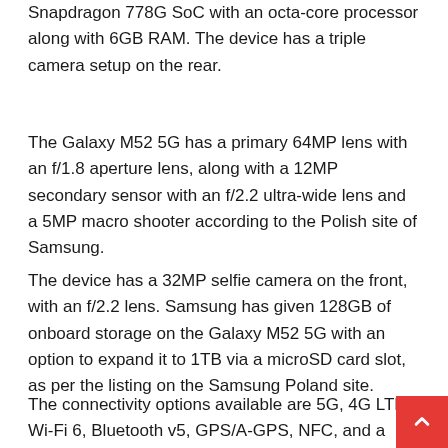Snapdragon 778G SoC with an octa-core processor along with 6GB RAM. The device has a triple camera setup on the rear.
The Galaxy M52 5G has a primary 64MP lens with an f/1.8 aperture lens, along with a 12MP secondary sensor with an f/2.2 ultra-wide lens and a 5MP macro shooter according to the Polish site of Samsung.
The device has a 32MP selfie camera on the front, with an f/2.2 lens. Samsung has given 128GB of onboard storage on the Galaxy M52 5G with an option to expand it to 1TB via a microSD card slot, as per the listing on the Samsung Poland site.
The connectivity options available are 5G, 4G LTE, Wi-Fi 6, Bluetooth v5, GPS/A-GPS, NFC, and a USB Type-C port.